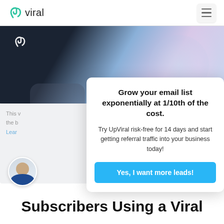UpViral
[Figure (screenshot): UpViral website background with dark navy and pastel blue/pink gradient, showing the UpViral 'Up' logo mark in white]
This [...]  the b[...] Learn
[Figure (photo): Circular avatar photo of a smiling man in a suit]
Grow your email list exponentially at 1/10th of the cost.
Try UpViral risk-free for 14 days and start getting referral traffic into your business today!
Yes, I want more leads!
Subscribers Using a Viral